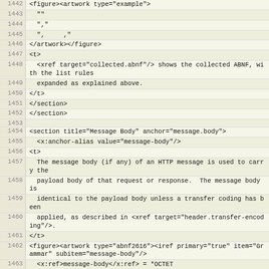Code listing lines 1442-1467 showing XML source for HTTP message body specification
| Line | Code |
| --- | --- |
| 1442 | <figure><artwork type="example"> |
| 1443 |   "" |
| 1444 |   "," |
| 1445 |   ",     ," |
| 1446 | </artwork></figure> |
| 1447 | <t> |
| 1448 |   <xref target="collected.abnf"/> shows the collected ABNF, with the list rules |
| 1449 |   expanded as explained above. |
| 1450 | </t> |
| 1451 | </section> |
| 1452 | </section> |
| 1453 |  |
| 1454 | <section title="Message Body" anchor="message.body"> |
| 1455 |   <x:anchor-alias value="message-body"/> |
| 1456 | <t> |
| 1457 |   The message body (if any) of an HTTP message is used to carry the |
| 1458 |   payload body of that request or response.  The message body is |
| 1459 |   identical to the payload body unless a transfer coding has been |
| 1460 |   applied, as described in <xref target="header.transfer-encoding"/>. |
| 1461 | </t> |
| 1462 | <figure><artwork type="abnf2616"><iref primary="true" item="Grammar" subitem="message-body"/> |
| 1463 |   <x:ref>message-body</x:ref> = *OCTET |
| 1464 | </artwork></figure> |
| 1465 | <t> |
| 1466 |   The rules for when a message body is allowed in a message differ for |
| 1467 |   requests and responses. |